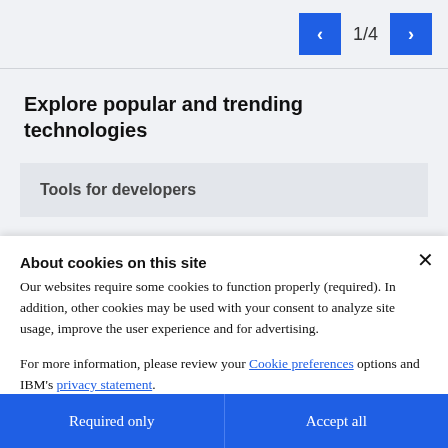[Figure (screenshot): Navigation pagination control with blue left arrow button, '1/4' page indicator text, and blue right arrow button on a light grey background]
Explore popular and trending technologies
Tools for developers
About cookies on this site
Our websites require some cookies to function properly (required). In addition, other cookies may be used with your consent to analyze site usage, improve the user experience and for advertising.
For more information, please review your Cookie preferences options and IBM's privacy statement.
Required only
Accept all